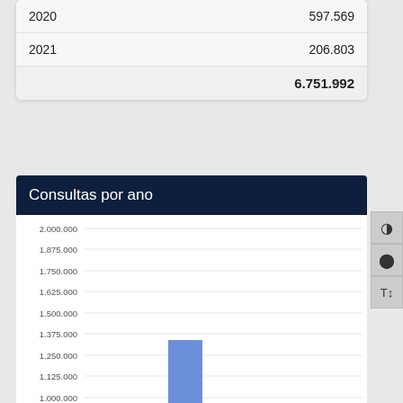| Ano | Consultas |
| --- | --- |
| 2020 | 597.569 |
| 2021 | 206.803 |
|  | 6.751.992 |
Consultas por ano
[Figure (bar-chart): Consultas por ano]